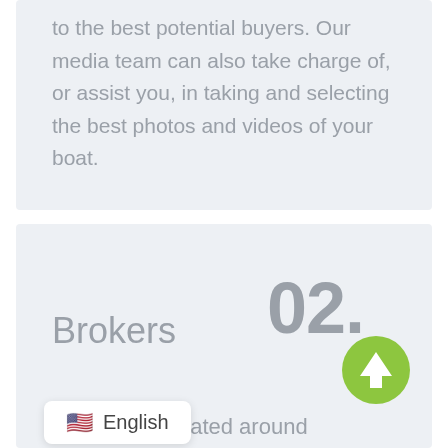to the best potential buyers. Our media team can also take charge of, or assist you, in taking and selecting the best photos and videos of your boat.
02.
Brokers
30 brokers located around
English